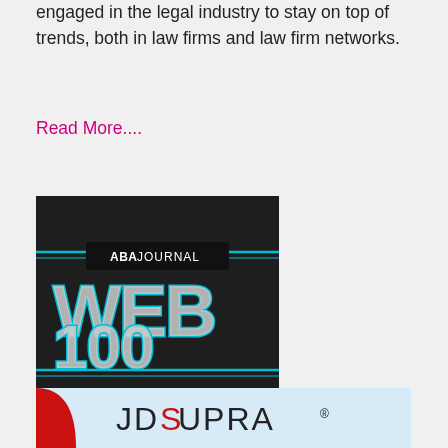engaged in the legal industry to stay on top of trends, both in law firms and law firm networks.
Read More....
[Figure (logo): ABA Journal Web 100 Honoree badge — dark background with blue neon-style lettering reading WEB 100, and a banner reading ABA JOURNAL at top, HONOREE at bottom.]
[Figure (logo): JD Supra logo — light blue background with red arc and the text ID SUPRA with registered trademark symbol.]